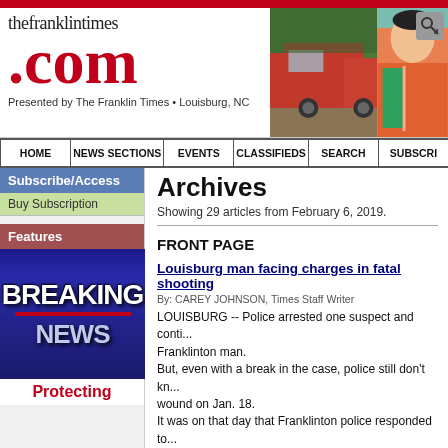[Figure (logo): thefranklintimes.com logo with red .com text and subtitle 'Presented by The Franklin Times • Louisburg, NC', alongside two photos: a fire truck scene and a girl in a Girl Scout sash]
HOME | NEWS SECTIONS | EVENTS | CLASSIFIEDS | SEARCH | SUBSCRI...
Subscribe/Access
Buy Subscription
Features
[Figure (photo): Breaking News graphic with blue background]
Protecting
Archives
Showing 29 articles from February 6, 2019.
FRONT PAGE
Louisburg man facing charges in fatal shooting
By: CAREY JOHNSON, Times Staff Writer
LOUISBURG -- Police arrested one suspect and conti... Franklinton man. But, even with a break in the case, police still don't kn... wound on Jan. 18. It was on that day that Franklinton police responded to... Fairlane Avenue home.